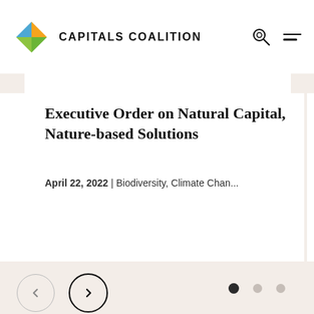CAPITALS COALITION
Executive Order on Natural Capital, Nature-based Solutions
April 22, 2022 | Biodiversity, Climate Chan...
En... Bio... 'Na...
Ma...